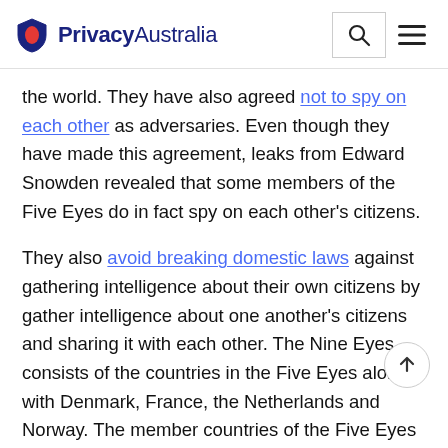PrivacyAustralia
the world. They have also agreed not to spy on each other as adversaries. Even though they have made this agreement, leaks from Edward Snowden revealed that some members of the Five Eyes do in fact spy on each other's citizens.
They also avoid breaking domestic laws against gathering intelligence about their own citizens by gather intelligence about one another's citizens and sharing it with each other. The Nine Eyes consists of the countries in the Five Eyes along with Denmark, France, the Netherlands and Norway. The member countries of the Five Eyes share intelligence with the members of the Nine Eyes and Fourteen Eyes. The members of the Five Eyes and third-party memberships